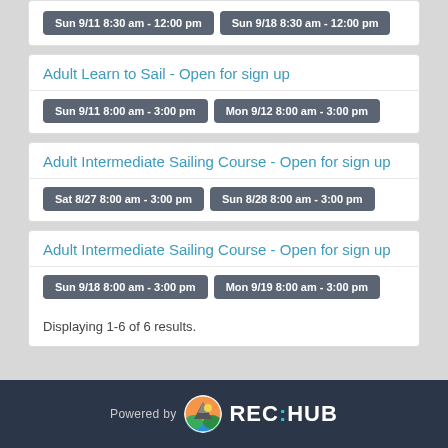Sun 9/11 8:30 am - 12:00 pm  |  Sun 9/18 8:30 am - 12:00 pm
Adult Learn to Sail - Open for sign up
Sun 9/11 8:00 am - 3:00 pm  |  Mon 9/12 8:00 am - 3:00 pm
Adult Intermediate Sailing Course - Open for sign up
Sat 8/27 8:00 am - 3:00 pm  |  Sun 8/28 8:00 am - 3:00 pm
Adult Intermediate Sailing Course - Open for sign up
Sun 9/18 8:00 am - 3:00 pm  |  Mon 9/19 8:00 am - 3:00 pm
Displaying 1-6 of 6 results.
Powered by REC:HUB